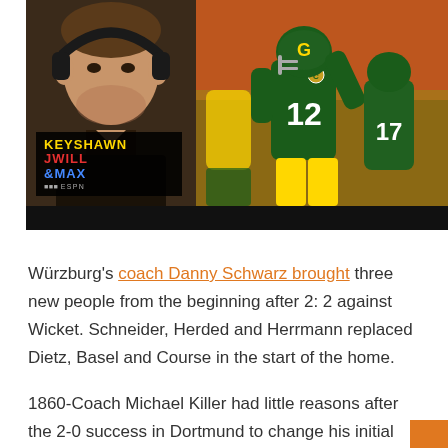[Figure (photo): Composite image: left side shows a man with headphones on a TV set with 'Keyshawn JWill & Max' ESPN logo overlay; right side shows Green Bay Packers players including #12 on the field.]
Würzburg's coach Danny Schwarz brought three new people from the beginning after 2: 2 against Wicket. Schneider, Herded and Herrmann replaced Dietz, Basel and Course in the start of the home.
1860-Coach Michael Killer had little reasons after the 2-0 success in Dortmund to change his initial